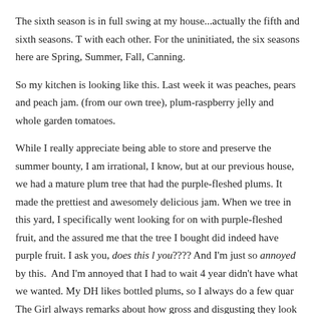The sixth season is in full swing at my house...actually the fifth and sixth seasons. They overlap with each other. For the uninitiated, the six seasons here are Spring, Summer, Fall, Winter, Canning.
So my kitchen is looking like this. Last week it was peaches, pears and peach jam. This week (from our own tree), plum-raspberry jelly and whole garden tomatoes.
While I really appreciate being able to store and preserve the summer bounty, I am irrational, I know, but at our previous house, we had a mature plum tree that had the purple-fleshed plums. It made the prettiest and awesomely delicious jam. When we planted a tree in this yard, I specifically went looking for on with purple-fleshed fruit, and the nursery assured me that the tree I bought did indeed have purple fruit. I ask you, does this look purple to you???? And I'm just so annoyed by this. And I'm annoyed that I had to wait 4 years to find out it didn't have what we wanted. My DH likes bottled plums, so I always do a few quarts of those. The Girl always remarks about how gross and disgusting they look in the bottles with that orange flesh poking out. The skins give a really nice color to the syrup initially, but it fades to a less pink color that really does look a little gross with the orangey fruit. Perfect is not what I wanted.